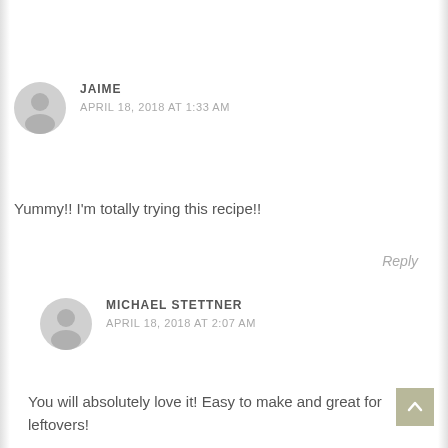JAIME
APRIL 18, 2018 AT 1:33 AM
Yummy!! I'm totally trying this recipe!!
Reply
MICHAEL STETTNER
APRIL 18, 2018 AT 2:07 AM
You will absolutely love it! Easy to make and great for leftovers!